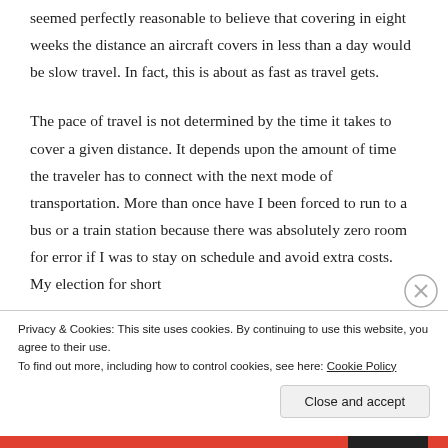seemed perfectly reasonable to believe that covering in eight weeks the distance an aircraft covers in less than a day would be slow travel. In fact, this is about as fast as travel gets.
The pace of travel is not determined by the time it takes to cover a given distance. It depends upon the amount of time the traveler has to connect with the next mode of transportation. More than once have I been forced to run to a bus or a train station because there was absolutely zero room for error if I was to stay on schedule and avoid extra costs. My election for short
Privacy & Cookies: This site uses cookies. By continuing to use this website, you agree to their use.
To find out more, including how to control cookies, see here: Cookie Policy
Close and accept